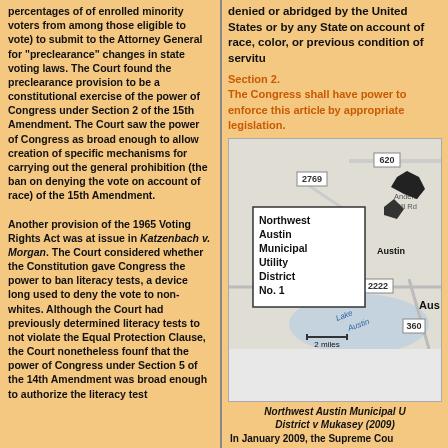percentages of of enrolled minority voters from among those eligible to vote) to submit to the Attorney General for "preclearance" changes in state voting laws. The Court found the preclearance provision to be a constitutional exercise of the power of Congress under Section 2 of the 15th Amendment. The Court saw the power of Congress as broad enough to allow creation of specific mechanisms for carrying out the general prohibition (the ban on denying the vote on account of race) of the 15th Amendment.

Another provision of the 1965 Voting Rights Act was at issue in Katzenbach v. Morgan. The Court considered whether the Constitution gave Congress the power to ban literacy tests, a device long used to deny the vote to non-whites. Although the Court had previously determined literacy tests to not violate the Equal Protection Clause, the Court nonetheless founf that the power of Congress under Section 5 of the 14th Amendment was broad enough to authorize the literacy test
denied or abridged by the United States or by any State on account of race, color, or previous condition of servit...
Section 2.
The Congress shall have power to enforce this article by appropriate legislation.
[Figure (map): Map showing Northwest Austin Municipal Utility District No. 1 location near Austin, Texas, with road numbers 620, 2769, 2222, 360 visible, Anderson Mill Rd label, Lake Austin label, and a '2 miles' scale bar.]
Northwest Austin Municipal Utility District v Mukasey (2009)
In January 2009, the Supreme Cou...